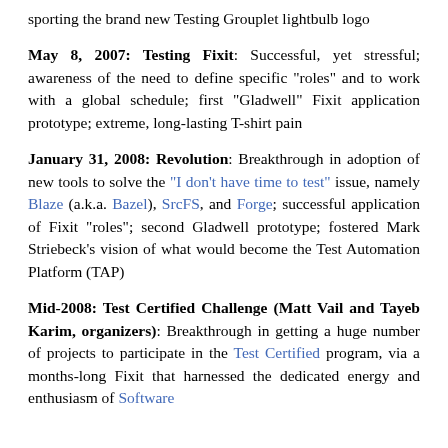sporting the brand new Testing Grouplet lightbulb logo
May 8, 2007: Testing Fixit: Successful, yet stressful; awareness of the need to define specific "roles" and to work with a global schedule; first "Gladwell" Fixit application prototype; extreme, long-lasting T-shirt pain
January 31, 2008: Revolution: Breakthrough in adoption of new tools to solve the "I don't have time to test" issue, namely Blaze (a.k.a. Bazel), SrcFS, and Forge; successful application of Fixit "roles"; second Gladwell prototype; fostered Mark Striebeck's vision of what would become the Test Automation Platform (TAP)
Mid-2008: Test Certified Challenge (Matt Vail and Tayeb Karim, organizers): Breakthrough in getting a huge number of projects to participate in the Test Certified program, via a months-long Fixit that harnessed the dedicated energy and enthusiasm of Software